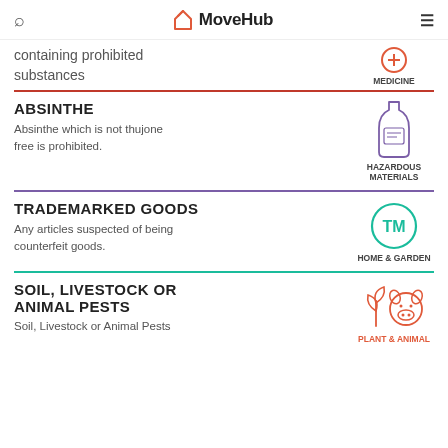MoveHub
containing prohibited substances
MEDICINE
ABSINTHE
Absinthe which is not thujone free is prohibited.
HAZARDOUS MATERIALS
TRADEMARKED GOODS
Any articles suspected of being counterfeit goods.
HOME & GARDEN
SOIL, LIVESTOCK OR ANIMAL PESTS
Soil, Livestock or Animal Pests
PLANT & ANIMAL